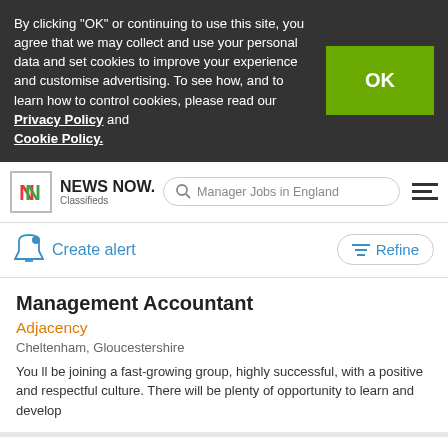By clicking “OK” or continuing to use this site, you agree that we may collect and use your personal data and set cookies to improve your experience and customise advertising. To see how, and to learn how to control cookies, please read our Privacy Policy and Cookie Policy.
[Figure (screenshot): News Now Classifieds logo with colourful N icon and search bar showing 'Manager Jobs in England']
Create alert
Refine
Management Accountant
Adjacency
Cheltenham, Gloucestershire
You ll be joining a fast-growing group, highly successful, with a positive and respectful culture. There will be plenty of opportunity to learn and develop
Management Accountant
Boston Hale
London, England
Our client is looking for an Interim Management Accountant. The successful candidate will join a high performing Reporting team that provides strategic